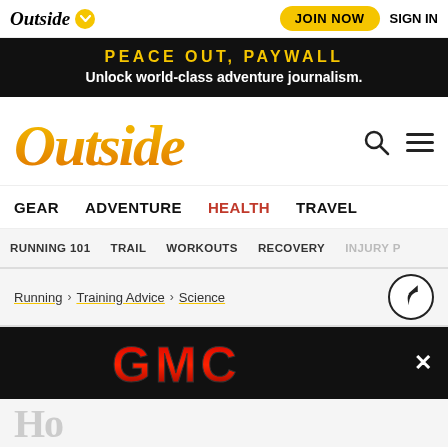Outside | JOIN NOW | SIGN IN
PEACE OUT, PAYWALL — Unlock world-class adventure journalism.
[Figure (logo): Outside magazine logo in gold/orange italic serif font]
GEAR  ADVENTURE  HEALTH  TRAVEL
RUNNING 101  TRAIL  WORKOUTS  RECOVERY  INJURY
Running > Training Advice > Science
[Figure (logo): GMC advertisement banner with GMC logo in metallic red on black background with close X button]
Ho...